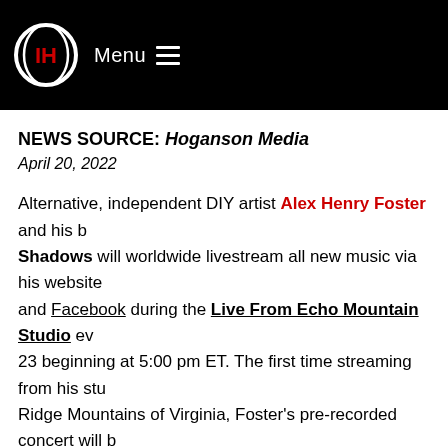Menu (navigation header with logo)
NEWS SOURCE: Hoganson Media
April 20, 2022
Alternative, independent DIY artist Alex Henry Foster and his b… Shadows will worldwide livestream all new music via his website and Facebook during the Live From Echo Mountain Studio ev… 23 beginning at 5:00 pm ET. The first time streaming from his stu… Ridge Mountains of Virginia, Foster's pre-recorded concert will b… UA, a Rolling Stone-featured non-profit fundraising project creat… immediate humanitarian help to those who need it most right no…
All the new songs debuted during the livestream, including featu… Violence in the World," will be direct-to-vinyl lathe-cut and offere… limited edition LP first to Foster's SFCC The Club members star… and then to everyone on April 22. All proceeds from this edition, … merchandise created around this event, will benefit Music Saves…
"We will be teaming up with our dear friends from the Music Save…